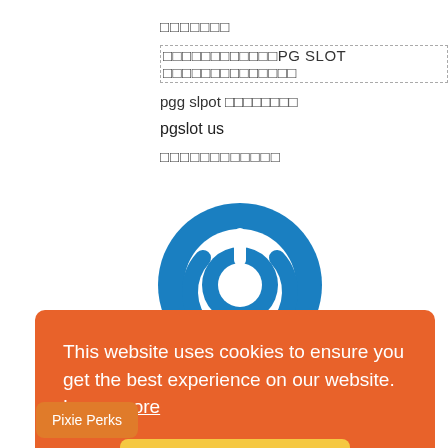□□□□□□□
□□□□□□□□□□□□PG SLOT □□□□□□□□□□□□□□
pgg slpot □□□□□□□□
pgslot us
□□□□□□□□□□□□
[Figure (logo): Blue circular power button icon with white power symbol in center]
Judy
This website uses cookies to ensure you get the best experience on our website. Learn more
Got it!
Pixie Perks
osawa stop time